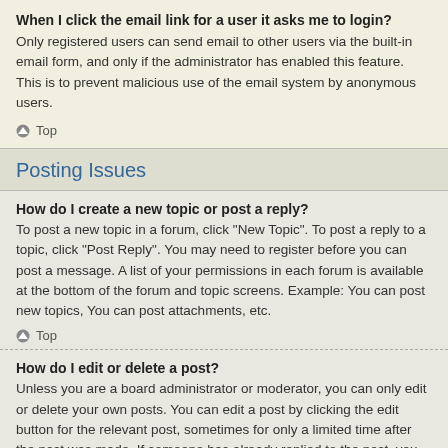When I click the email link for a user it asks me to login?
Only registered users can send email to other users via the built-in email form, and only if the administrator has enabled this feature. This is to prevent malicious use of the email system by anonymous users.
Top
Posting Issues
How do I create a new topic or post a reply?
To post a new topic in a forum, click "New Topic". To post a reply to a topic, click "Post Reply". You may need to register before you can post a message. A list of your permissions in each forum is available at the bottom of the forum and topic screens. Example: You can post new topics, You can post attachments, etc.
Top
How do I edit or delete a post?
Unless you are a board administrator or moderator, you can only edit or delete your own posts. You can edit a post by clicking the edit button for the relevant post, sometimes for only a limited time after the post was made. If someone has already replied to the post, you will find a small piece of text output below the post when you return to the topic which lists the number of times you edited it along with the date and time. This will only appear if someone has made a reply; it will not appear if a moderator or administrator edited the post, though they may leave a note as to why they've edited the post at their own discretion.